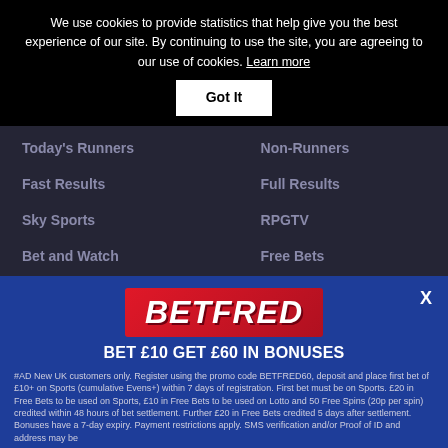We use cookies to provide statistics that help give you the best experience of our site. By continuing to use the site, you are agreeing to our use of cookies. Learn more
Got It
Today's Runners
Non-Runners
Fast Results
Full Results
Sky Sports
RPGTV
Bet and Watch
Free Bets
[Figure (screenshot): Betfred advertisement banner with logo, promotional offer text, terms, and a Super Extra Places sub-banner with Claim Here button]
BET £10 GET £60 IN BONUSES
#AD New UK customers only. Register using the promo code BETFRED60, deposit and place first bet of £10+ on Sports (cumulative Evens+) within 7 days of registration. First bet must be on Sports. £20 in Free Bets to be used on Sports, £10 in Free Bets to be used on Lotto and 50 Free Spins (20p per spin) credited within 48 hours of bet settlement. Further £20 in Free Bets credited 5 days after settlement. Bonuses have a 7-day expiry. Payment restrictions apply. SMS verification and/or Proof of ID and address may be